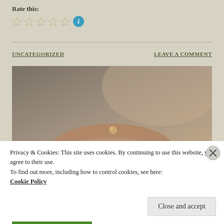Rate this:
[Figure (other): Five empty star rating icons followed by a blue circle info icon]
UNCATEGORIZED
LEAVE A COMMENT
[Figure (photo): Close-up photo of a tiny round seed or bead balanced on a fingertip, with blurred warm-toned background]
Privacy & Cookies: This site uses cookies. By continuing to use this website, you agree to their use.
To find out more, including how to control cookies, see here:
Cookie Policy
Close and accept